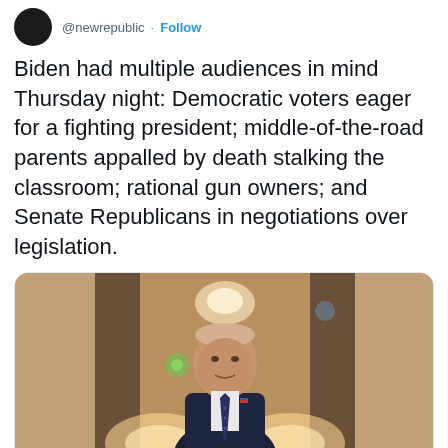@newrepublic · Follow
Biden had multiple audiences in mind Thursday night: Democratic voters eager for a fighting president; middle-of-the-road parents appalled by death stalking the classroom; rational gun owners; and Senate Republicans in negotiations over legislation.
[Figure (photo): President Biden speaking at a podium with microphones in a formal white room with chandeliers and warm lighting in the background]
newrepublic.com
Biden Is Doing Everything He Can to Keep Hope Alive for Gun Legislation